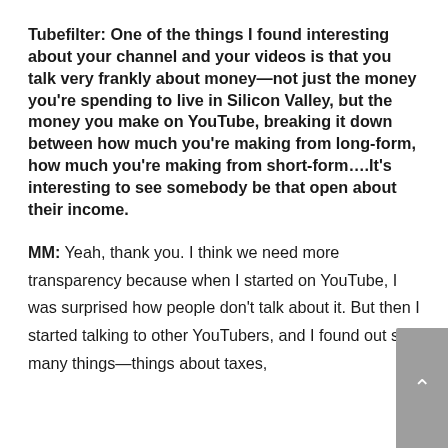Tubefilter: One of the things I found interesting about your channel and your videos is that you talk very frankly about money—not just the money you're spending to live in Silicon Valley, but the money you make on YouTube, breaking it down between how much you're making from long-form, how much you're making from short-form….It's interesting to see somebody be that open about their income.
MM: Yeah, thank you. I think we need more transparency because when I started on YouTube, I was surprised how people don't talk about it. But then I started talking to other YouTubers, and I found out so many things—things about taxes,